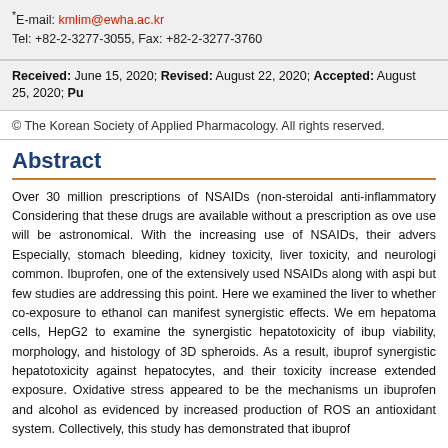*E-mail: kmlim@ewha.ac.kr
Tel: +82-2-3277-3055, Fax: +82-2-3277-3760
Received: June 15, 2020; Revised: August 22, 2020; Accepted: August 25, 2020; Pu
© The Korean Society of Applied Pharmacology. All rights reserved.
Abstract
Over 30 million prescriptions of NSAIDs (non-steroidal anti-inflammatory drugs) are issued annually. Considering that these drugs are available without a prescription as over-the-counter drugs, their actual use will be astronomical. With the increasing use of NSAIDs, their adverse effects are also increasing. Especially, stomach bleeding, kidney toxicity, liver toxicity, and neurological side effects are increasingly common. Ibuprofen, one of the extensively used NSAIDs along with aspirin, may have hepatotoxic potential but few studies are addressing this point. Here we examined the liver toxicity of ibuprofen and whether co-exposure to ethanol can manifest synergistic effects. We employed human hepatoma cells, HepG2 to examine the synergistic hepatotoxicity of ibuprofen and alcohol on cell viability, morphology, and histology of 3D spheroids. As a result, ibuprofen and alcohol exerted synergistic hepatotoxicity against hepatocytes, and their toxicity increased with dose- and extended exposure. Oxidative stress appeared to be the mechanisms underlying the hepatotoxicity of ibuprofen and alcohol as evidenced by increased production of ROS and the depletion of antioxidant system. Collectively, this study has demonstrated that ibuprofen